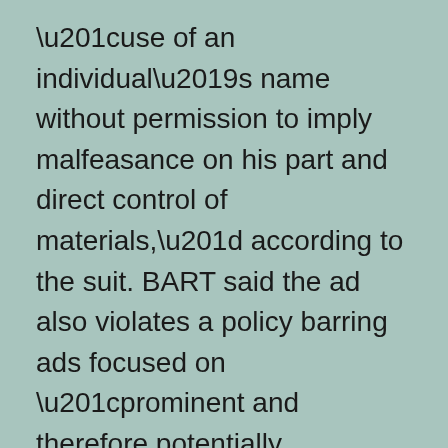“use of an individual’s name without permission to imply malfeasance on his part and direct control of materials,” according to the suit. BART said the ad also violates a policy barring ads focused on “prominent and therefore potentially controversial political figures,” the suit said. BART told the group it “considers Elon Musk to be a political figure, based on his directed lobbying and outspoken addresses on political issues that are prominently reported on,” according to the suit.
The transit agency is giving itself “unfettered discretion” to ban ads, the suit claimed. “BART